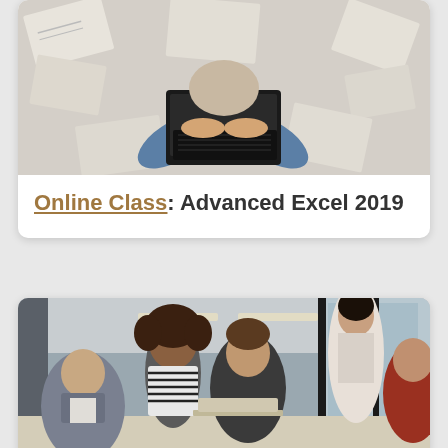[Figure (photo): Overhead view of a person sitting cross-legged on newspapers, using a laptop computer]
Online Class: Advanced Excel 2019
[Figure (photo): Group of five people in an office setting having a discussion around a table with a laptop]